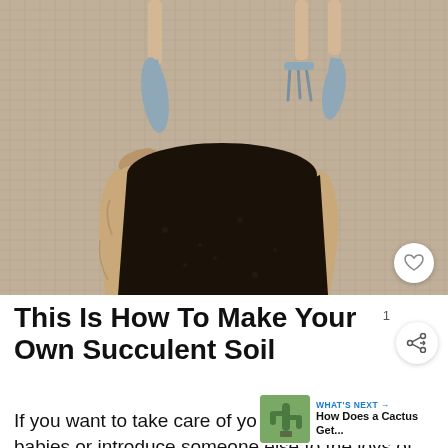[Figure (photo): Overhead view of gardening tools (small trowel and cultivator) and an open paper bag of dark potting soil on a burlap background]
This Is How To Make Your Own Succulent Soil
If you want to take care of your own little babies or introduce someone else to the joys of